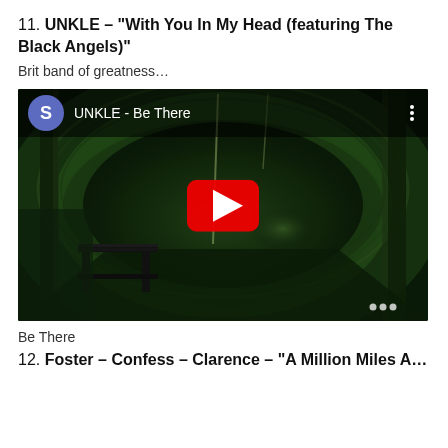11. UNKLE – “With You In My Head (featuring The Black Angels)”
Brit band of greatness…
[Figure (screenshot): YouTube video embed showing UNKLE - Be There, with a dark greenish tunnel scene, YouTube play button, user avatar with letter S, and video title overlay.]
Be There
12. Foster – Confess – Clarence – “A Million Miles A…